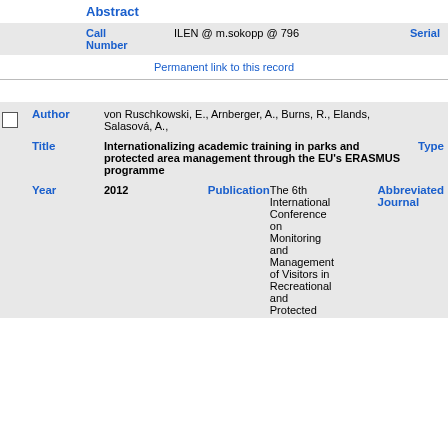Abstract
| Call Number | ILEN @ m.sokopp @ 796 | Serial |
| --- | --- | --- |
Permanent link to this record
| Author | von Ruschkowski, E., Arnberger, A., Burns, R., Elands, Salasová, A., |
| --- | --- |
| Title | Internationalizing academic training in parks and protected area management through the EU's ERASMUS programme | Type |  |
| Year | 2012 | Publication | The 6th International Conference on Monitoring and Management of Visitors in Recreational and Protected | Abbreviated Journal |  |